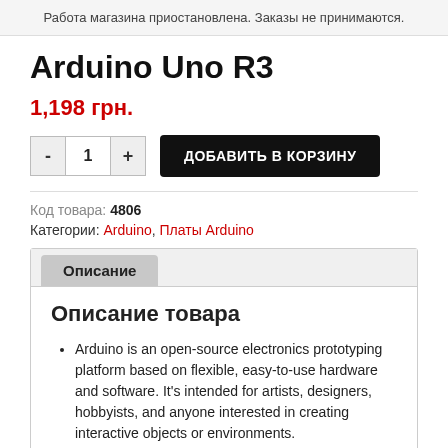Работа магазина приостановлена. Заказы не принимаются.
Arduino Uno R3
1,198 грн.
- 1 + ДОБАВИТЬ В КОРЗИНУ
Код товара: 4806
Категории: Arduino, Платы Arduino
Описание
Описание товара
Arduino is an open-source electronics prototyping platform based on flexible, easy-to-use hardware and software. It's intended for artists, designers, hobbyists, and anyone interested in creating interactive objects or environments.